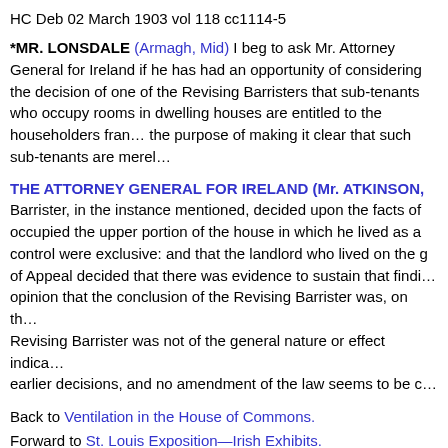HC Deb 02 March 1903 vol 118 cc1114-5
*MR. LONSDALE (Armagh, Mid) I beg to ask Mr. Attorney General for Ireland if he has had an opportunity of considering the decision of one of the Revising Barristers that sub-tenants who occupy rooms in dwelling houses are entitled to the householders franchise; and whether he will introduce legislation for the purpose of making it clear that such sub-tenants are merely lodgers and not entitled to vote.
THE ATTORNEY GENERAL FOR IRELAND (Mr. ATKINSON, Londonderry, N.) The Revising Barrister, in the instance mentioned, decided upon the facts of the particular case, that the tenant occupied the upper portion of the house in which he lived as a separate dwelling, and that his occupation and control were exclusive: and that the landlord who lived on the ground floor had no access to it. The Court of Appeal decided that there was evidence to sustain that finding. The Court of Appeal was, in my opinion that the conclusion of the Revising Barrister was, on the facts, correct. The decision of the Revising Barrister was not of the general nature or effect indicated by the hon. Member, and is in accordance with earlier decisions, and no amendment of the law seems to be called for.
Back to Ventilation in the House of Commons.
Forward to St. Louis Exposition—Irish Exhibits.
Noticed a typo? | Report other issues | © UK Parliament